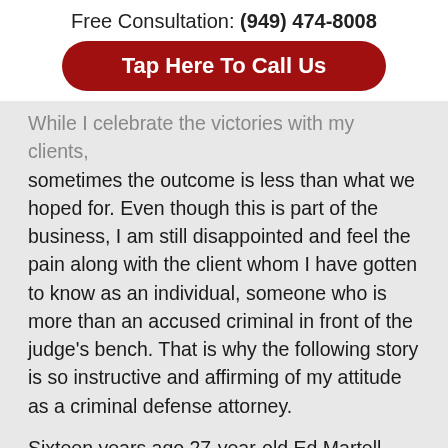Free Consultation: (949) 474-8008
Tap Here To Call Us
While I celebrate the victories with my clients, sometimes the outcome is less than what we hoped for. Even though this is part of the business, I am still disappointed and feel the pain along with the client whom I have gotten to know as an individual, someone who is more than an accused criminal in front of the judge’s bench. That is why the following story is so instructive and affirming of my attitude as a criminal defense attorney.
Sixteen years ago 27-year-old Ed Martell stood before Judge Bruce Morrow in his Michigan courtroom and pleaded guilty to selling and manufacturing crack cocaine. The defendant faced a